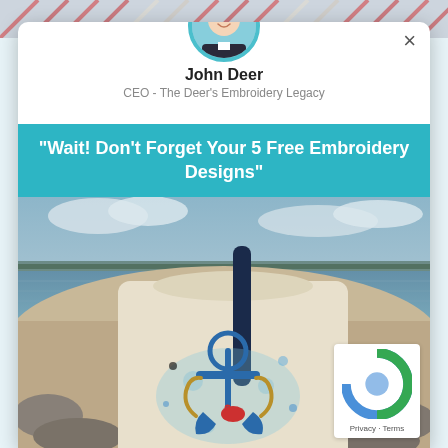[Figure (photo): Top decorative strip with embroidery/woven pattern in red, blue, beige colors]
[Figure (photo): Circular avatar photo of John Deer, a man in a suit, smiling, with teal border]
John Deer
CEO - The Deer's Embroidery Legacy
"Wait! Don't Forget Your 5 Free Embroidery Designs"
[Figure (photo): Photo of a canvas tote bag with blue anchor embroidery design, placed on rocks by a lake/sea with cloudy sky background]
Privacy · Terms